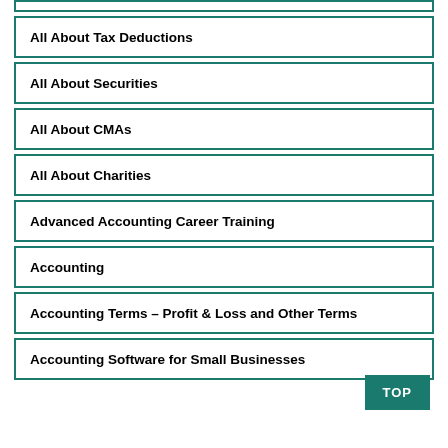All About Tax Deductions
All About Securities
All About CMAs
All About Charities
Advanced Accounting Career Training
Accounting
Accounting Terms – Profit & Loss and Other Terms
Accounting Software for Small Businesses